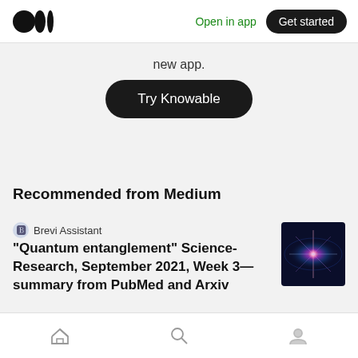Medium logo | Open in app | Get started
new app.
Try Knowable
Recommended from Medium
Brevi Assistant
“Quantum entanglement” Science-Research, September 2021, Week 3—summary from PubMed and Arxiv
[Figure (photo): Dark image with a glowing particle/star burst effect in pink and blue on a dark navy background, representing quantum entanglement visualization]
Home | Search | Profile navigation icons